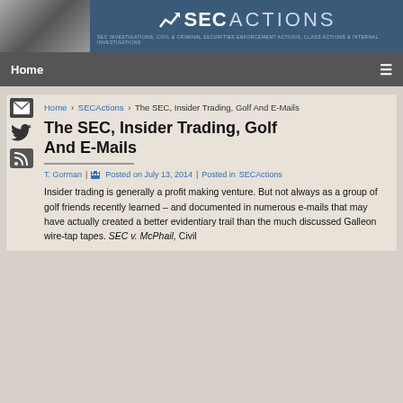[Figure (logo): SEC Actions website header banner with photo and logo]
Home ☰
Home › SECActions › The SEC, Insider Trading, Golf And E-Mails
The SEC, Insider Trading, Golf And E-Mails
T. Gorman | Posted on July 13, 2014 | Posted in SECActions
Insider trading is generally a profit making venture. But not always as a group of golf friends recently learned – and documented in numerous e-mails that may have actually created a better evidentiary trail than the much discussed Galleon wire-tap tapes. SEC v. McPhail, Civil